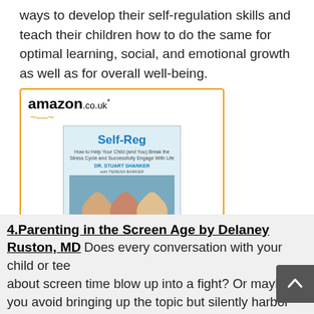ways to develop their self-regulation skills and teach their children how to do the same for optimal learning, social, and emotional growth as well as for overall well-being.
[Figure (other): Amazon.co.uk widget showing the book 'Self-Reg: How to Help Your...' priced at £45.95 with a Shop now button]
4.Parenting in the Screen Age by Delaney Ruston, MD
Does every conversation with your child or teen about screen time blow up into a fight? Or maybe you avoid bringing up the topic but silently harbor